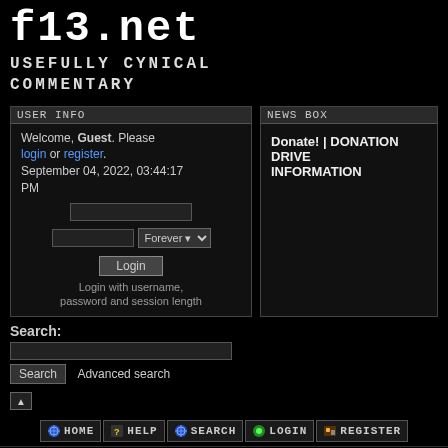f13.net USEFULLY CYNICAL COMMENTARY
USER INFO
Welcome, Guest. Please login or register. September 04, 2022, 03:44:17 PM
Login with username, password and session length
NEWS BOX
Donate! | DONATION DRIVE INFORMATION
Search:
Search  Advanced search
[Figure (screenshot): Navigation bar with HOME, HELP, SEARCH, LOGIN, REGISTER links with icons]
f13.net | f13.net General Forums | News | Topic: "What do you think?" asks Game Informer, which I   0 Members and 1 Guest are viewing this topic.